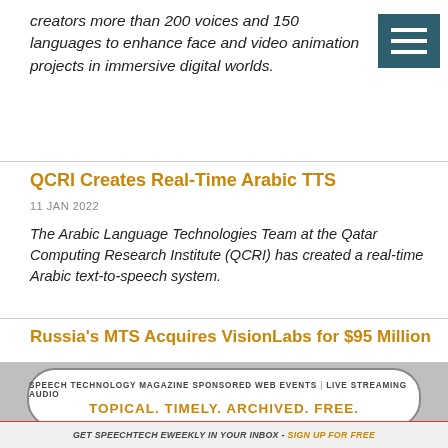creators more than 200 voices and 150 languages to enhance face and video animation projects in immersive digital worlds.
[Figure (other): Hamburger menu icon — three white horizontal bars on dark teal background]
QCRI Creates Real-Time Arabic TTS
11 JAN 2022
The Arabic Language Technologies Team at the Qatar Computing Research Institute (QCRI) has created a real-time Arabic text-to-speech system.
Russia's MTS Acquires VisionLabs for $95 Million
[Figure (infographic): Advertisement banner: SPEECH TECHNOLOGY MAGAZINE SPONSORED WEB EVENTS | LIVE STREAMING AUDIO — TOPICAL. TIMELY. ARCHIVED. FREE.]
GET SPEECHTECH EWEEKLY IN YOUR INBOX - SIGN UP FOR FREE